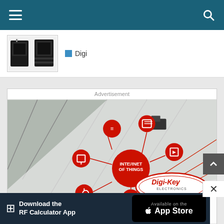Navigation bar with hamburger menu and search icon
[Figure (photo): Product image of two Digi electronic modules/boards shown in a white bordered box]
Digi
Advertisement
[Figure (infographic): Digi-Key Electronics advertisement: Internet of Things themed image with aerial highway photo and IoT icons connected by red lines. Text reads: Speed up deployment with DK IoT Connectivity & Solutions. Offering IoT products and services.]
Download the RF Calculator App
[Figure (logo): Available on the App Store badge (Apple App Store)]